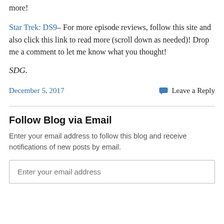more!
Star Trek: DS9– For more episode reviews, follow this site and also click this link to read more (scroll down as needed)! Drop me a comment to let me know what you thought!
SDG.
December 5, 2017   💬 Leave a Reply
Follow Blog via Email
Enter your email address to follow this blog and receive notifications of new posts by email.
Enter your email address